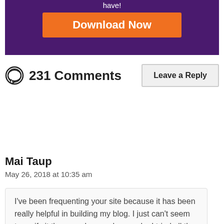[Figure (screenshot): Purple banner with 'have!' text and orange Download Now button]
231 Comments
Leave a Reply
Mai Taup
May 26, 2018 at 10:35 am
I've been frequenting your site because it has been really helpful in building my blog. I just can't seem to verify it thru google search console. I tried all the alternatives listed in this page. What am I doing wrong? HELP!